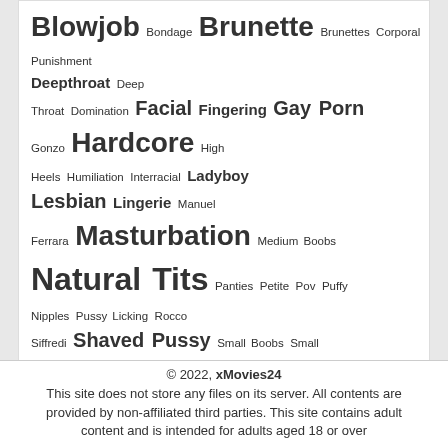Blowjob Bondage Brunette Brunettes Corporal Punishment Deepthroat Deep Throat Domination Facial Fingering Gay Porn Gonzo Hardcore High Heels Humiliation Interracial Ladyboy Lesbian Lingerie Manuel Ferrara Masturbation Medium Boobs Natural Tits Panties Petite Pov Puffy Nipples Pussy Licking Rocco Siffredi Shaved Pussy Small Boobs Small Tits Solo Straight Tattoo Teen Toys Transsexual
© 2022, xMovies24
This site does not store any files on its server. All contents are provided by non-affiliated third parties. This site contains adult content and is intended for adults aged 18 or over